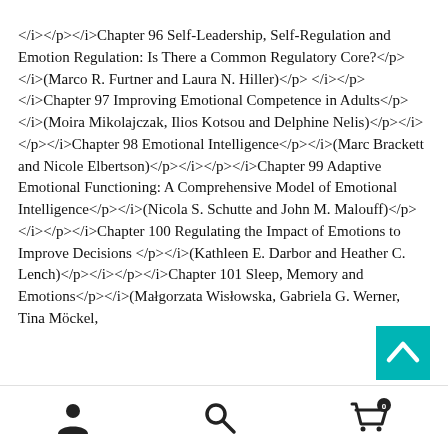</i></p></i>Chapter 96 Self-Leadership, Self-Regulation and Emotion Regulation: Is There a Common Regulatory Core?</p></i>(Marco R. Furtner and Laura N. Hiller)</p></i></p></i>Chapter 97 Improving Emotional Competence in Adults</p></i>(Moira Mikolajczak, Ilios Kotsou and Delphine Nelis)</p></i></p></i>Chapter 98 Emotional Intelligence</p></i>(Marc Brackett and Nicole Elbertson)</p></i></p></i>Chapter 99 Adaptive Emotional Functioning: A Comprehensive Model of Emotional Intelligence</p></i>(Nicola S. Schutte and John M. Malouff)</p></i></p></i>Chapter 100 Regulating the Impact of Emotions to Improve Decisions </p></i>(Kathleen E. Darbor and Heather C. Lench)</p></i></i></p></i>Chapter 101 Sleep, Memory and Emotions</p></i>(Małgorzata Wisłowska, Gabriela G. Werner, Tina Möckel,
[Figure (other): Scroll-to-top button (teal square with upward chevron arrow)]
[Figure (other): Bottom navigation bar with person/account icon, search (magnifying glass) icon, and shopping cart icon with badge showing 0]